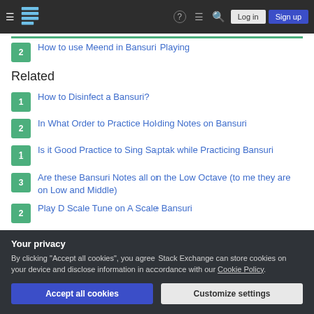Stack Exchange navigation bar with Log in and Sign up buttons
2 — How to use Meend in Bansuri Playing
Related
1 — How to Disinfect a Bansuri?
2 — In What Order to Practice Holding Notes on Bansuri
1 — Is it Good Practice to Sing Saptak while Practicing Bansuri
3 — Are these Bansuri Notes all on the Low Octave (to me they are on Low and Middle)
2 — Play D Scale Tune on A Scale Bansuri
Your privacy
By clicking "Accept all cookies", you agree Stack Exchange can store cookies on your device and disclose information in accordance with our Cookie Policy.
Accept all cookies | Customize settings